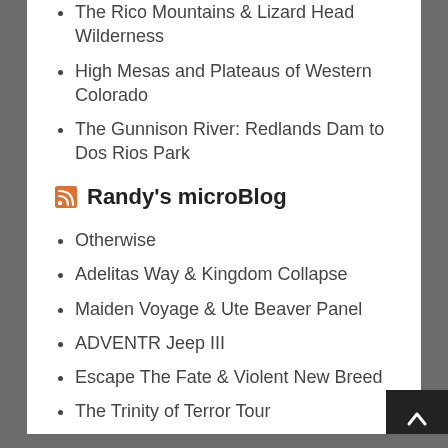The Rico Mountains & Lizard Head Wilderness
High Mesas and Plateaus of Western Colorado
The Gunnison River: Redlands Dam to Dos Rios Park
Randy's microBlog
Otherwise
Adelitas Way & Kingdom Collapse
Maiden Voyage & Ute Beaver Panel
ADVENTR Jeep III
Escape The Fate & Violent New Breed
The Trinity of Terror Tour
The Amity Affliction in Grand Junction